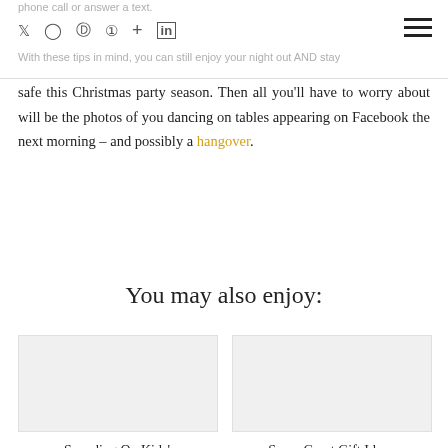phone call or answer a text.
With these tips in mind, you can still enjoy your night out AND stay safe this Christmas party season. Then all you'll have to worry about will be the photos of you dancing on tables appearing on Facebook the next morning – and possibly a hangover.
You may also enjoy:
Spending On Kids' Christmas Presents: How Much ...
Some Great Gift Ideas For The Men ...